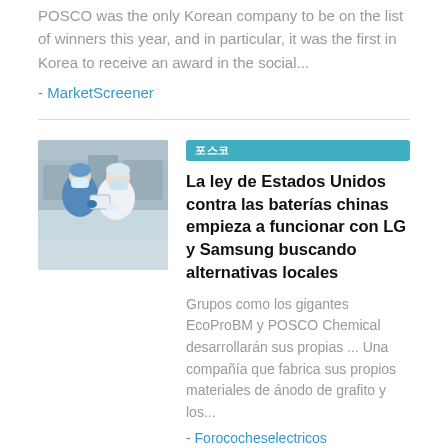POSCO was the only Korean company to be on the list of winners this year, and in particular, it was the first in Korea to receive an award in the social...
- MarketScreener
[Figure (photo): Two workers in blue and white protective suits and masks examining a battery material in a factory setting]
포스코
La ley de Estados Unidos contra las baterías chinas empieza a funcionar con LG y Samsung buscando alternativas locales
Grupos como los gigantes EcoProBM y POSCO Chemical desarrollarán sus propias ... Una compañía que fabrica sus propios materiales de ánodo de grafito y los...
- Forococheselectricos